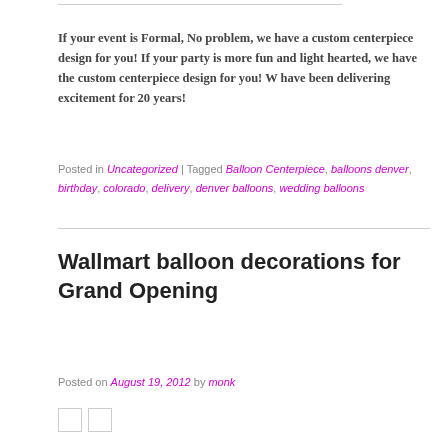If your event is Formal, No problem, we have a custom centerpiece design for you!  If your party is more fun and light hearted, we have the  custom centerpiece design for you!  W have been delivering excitement for 20 years!
Posted in Uncategorized | Tagged Balloon Centerpiece, balloons denver, birthday, colorado, delivery, denver balloons, wedding balloons
Wallmart balloon decorations for Grand Opening
Posted on August 19, 2012 by monk